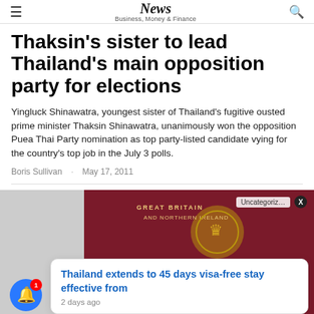News Business, Money & Finance
Thaksin's sister to lead Thailand's main opposition party for elections
Yingluck Shinawatra, youngest sister of Thailand's fugitive ousted prime minister Thaksin Shinawatra, unanimously won the opposition Puea Thai Party nomination as top party-listed candidate vying for the country's top job in the July 3 polls.
Boris Sullivan · May 17, 2011
[Figure (photo): Close-up photo of a British passport with text 'Great Britain and Northern Ireland' partially visible, burgundy cover, gold text reading PASS at the bottom]
Thailand extends to 45 days visa-free stay effective from
2 days ago